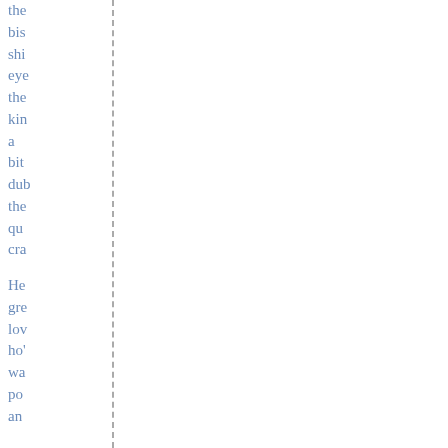the bis shi eye the kin a bit dub the qu cra He gre lov ho' wa po an